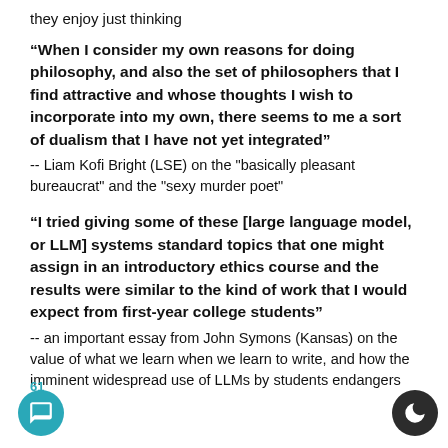they enjoy just thinking
“When I consider my own reasons for doing philosophy, and also the set of philosophers that I find attractive and whose thoughts I wish to incorporate into my own, there seems to me a sort of dualism that I have not yet integrated”
-- Liam Kofi Bright (LSE) on the "basically pleasant bureaucrat" and the "sexy murder poet"
“I tried giving some of these [large language model, or LLM] systems standard topics that one might assign in an introductory ethics course and the results were similar to the kind of work that I would expect from first-year college students”
-- an important essay from John Symons (Kansas) on the value of what we learn when we learn to write, and how the imminent widespread use of LLMs by students endangers this